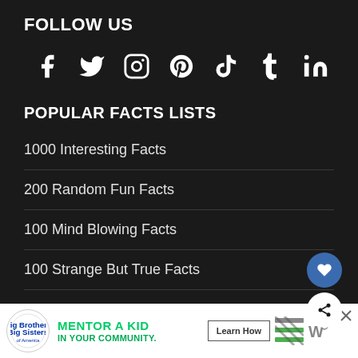FOLLOW US
[Figure (infographic): Row of social media icons: Facebook, Twitter, Instagram, Pinterest, TikTok, Tumblr, LinkedIn]
POPULAR FACTS LISTS
1000 Interesting Facts
200 Random Fun Facts
100 Mind Blowing Facts
100 Strange But True Facts
100 Utterly Amazing Facts
100 Interesting Space Facts
[Figure (infographic): Advertisement banner: Big Brothers Big Sisters - MENTOR A KID IN YOUR COMMUNITY. Learn How button.]